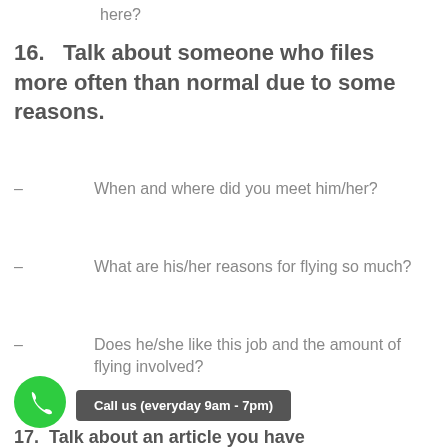here?
16.   Talk about someone who files more often than normal due to some reasons.
– When and where did you meet him/her?
– What are his/her reasons for flying so much?
– Does he/she like this job and the amount of flying involved?
Call us (everyday 9am - 7pm)
17.  Talk about an article you have